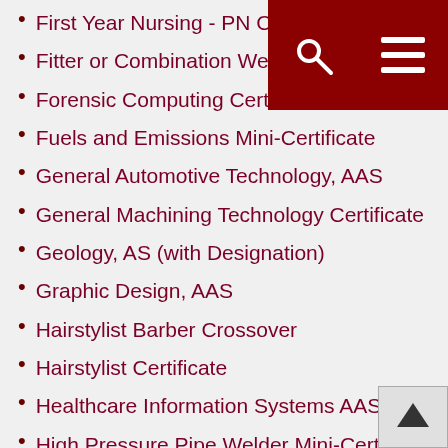First Year Nursing - PN Certificate Option
Fitter or Combination Welder Certificate
Forensic Computing Certificate
Fuels and Emissions Mini-Certificate
General Automotive Technology, AAS
General Machining Technology Certificate
Geology, AS (with Designation)
Graphic Design, AAS
Hairstylist Barber Crossover
Hairstylist Certificate
Healthcare Information Systems AAS
High Pressure Pipe Welder Mini-Certificate
History, AA (with Designation)
HIT Medical Coding AAS
HIT Medical Coding Certificate
Industrial Technology Maintenance Level I Certificate
Industrial Technology Maintenance Level II Mini-Certificate